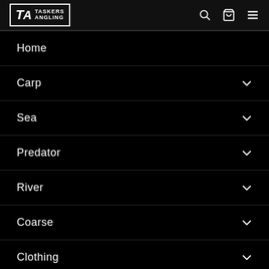[Figure (logo): Taskers Angling logo with TA initials in a bordered box, search icon, cart icon, and hamburger menu icon in the header]
Home
Carp
Sea
Predator
River
Coarse
Clothing
Catfish (partial)